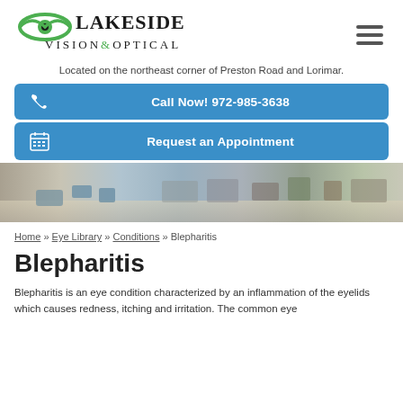[Figure (logo): Lakeside Vision & Optical logo with eye graphic in green and black text]
Located on the northeast corner of Preston Road and Lorimar.
Call Now! 972-985-3638
Request an Appointment
[Figure (photo): Interior panoramic photo of Lakeside Vision & Optical optical shop showing waiting area, display cases, and reception]
Home » Eye Library » Conditions » Blepharitis
Blepharitis
Blepharitis is an eye condition characterized by an inflammation of the eyelids which causes redness, itching and irritation. The common eye